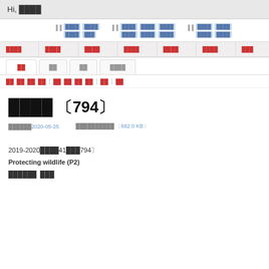Hi, ████
████ ████ ████  ██ ████ ████ ████  ██ ████ ████
██ ████ ███  ██ ████ ████ ████  ██ ████ ████
| ████ | ████ | ████ | ████ | ████ | ████ | ████ |
| --- | --- | --- | --- | --- | --- | --- |
██ (active tab) | ██ | ██ | ████
██ ██ ██ ██ | ██ ██ ██ ██ | ██ | ██
████ 〔794〕
██████2020-05-25   ██████████ 〔682.0 KB〕
2019-2020████41███794〕
Protecting wildlife (P2)
██████  ███